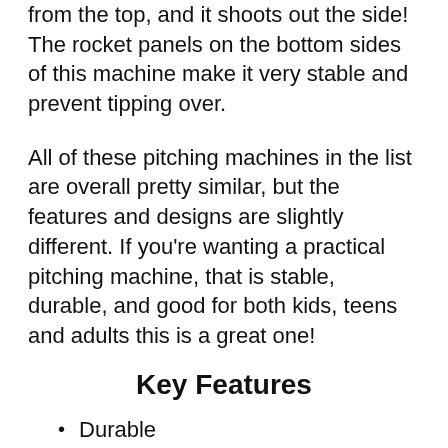from the top, and it shoots out the side! The rocket panels on the bottom sides of this machine make it very stable and prevent tipping over.
All of these pitching machines in the list are overall pretty similar, but the features and designs are slightly different. If you're wanting a practical pitching machine, that is stable, durable, and good for both kids, teens and adults this is a great one!
Key Features
Durable
High quality
Solid/stable
Rocket shoot design